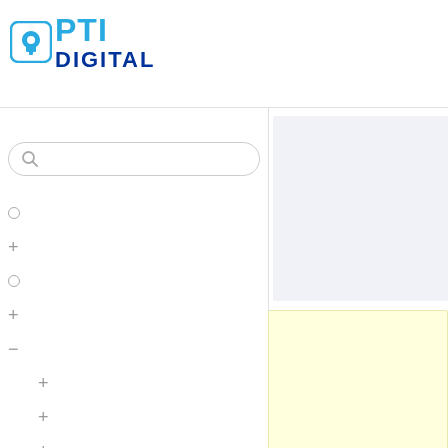[Figure (logo): OPTI DIGITAL logo with blue hand/cursor icon, 'PTI' in light blue bold text, 'DIGITAL' in dark blue bold text]
[Figure (screenshot): Web application UI showing a search bar with magnifying glass icon on the left panel, a vertical list of menu items with circles, plus signs and a minus sign (some indented), a light blue/grey content panel on the upper right, and a light yellow content panel on the lower right]